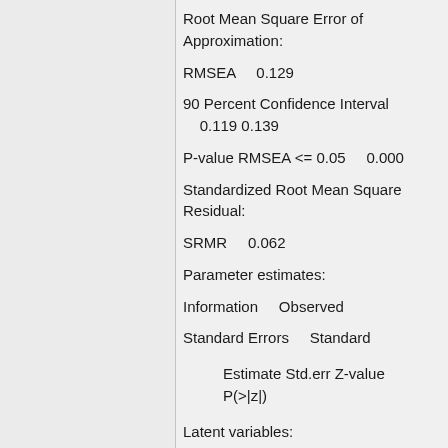Root Mean Square Error of Approximation:
RMSEA    0.129
90 Percent Confidence Interval    0.119 0.139
P-value RMSEA <= 0.05    0.000
Standardized Root Mean Square Residual:
SRMR    0.062
Parameter estimates:
Information    Observed
Standard Errors    Standard
Estimate Std.err Z-value P(>|z|)
Latent variables:
Imaging =~